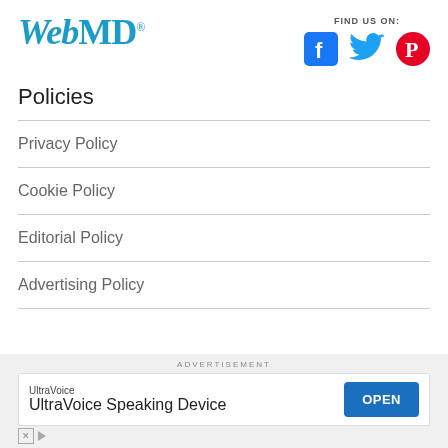[Figure (logo): WebMD logo in blue italic and bold text with registered trademark symbol]
[Figure (infographic): Find us on social media icons: Facebook (blue), Twitter (cyan), Pinterest (red)]
Policies
Privacy Policy
Cookie Policy
Editorial Policy
Advertising Policy
ADVERTISEMENT
[Figure (screenshot): Ad banner: UltraVoice Speaking Device with OPEN button]